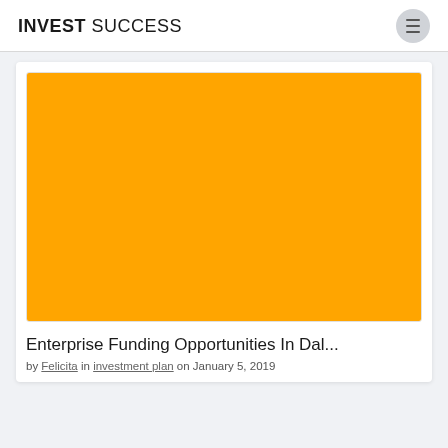INVEST SUCCESS
[Figure (photo): Large orange/amber colored rectangular placeholder image for a blog post about Enterprise Funding Opportunities.]
Enterprise Funding Opportunities In Dal...
by Felicita in investment plan on January 5, 2019